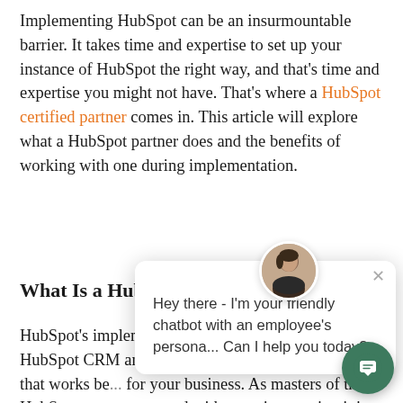Implementing HubSpot can be an insurmountable barrier. It takes time and expertise to set up your instance of HubSpot the right way, and that's time and expertise you might not have. That's where a HubSpot certified partner comes in. This article will explore what a HubSpot partner does and the benefits of working with one during implementation.
What Is a HubS...
HubSpot's implementation... help users acclimate to the HubSpot CRM and set up the separate hubs in the way that works best for your business. As masters of the HubSpot ecosystem and with experience using it in dozens or hundreds of different business contexts, they...
[Figure (screenshot): A chatbot popup overlay showing an avatar of a woman and the message: 'Hey there - I'm your friendly chatbot with an employee's persona... Can I help you today?' with a close (X) button. A green circular chat FAB button appears in the bottom-right corner.]